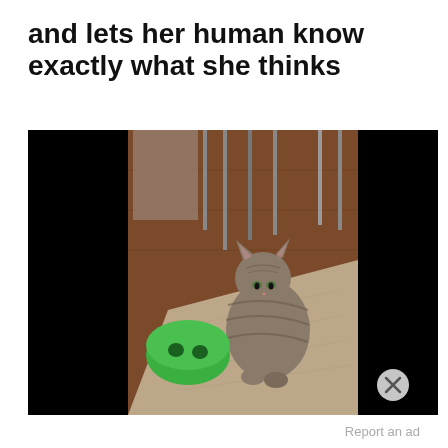and lets her human know exactly what she thinks
[Figure (photo): A tabby cat sitting on a hardwood floor next to a rug, looking up, with a green dome-shaped pet toy on the floor in front of it. The background shows furniture legs and the image has black bars on the left and right sides (letterboxed video frame). A close/dismiss button (X) appears in the bottom-right corner.]
Report an ad